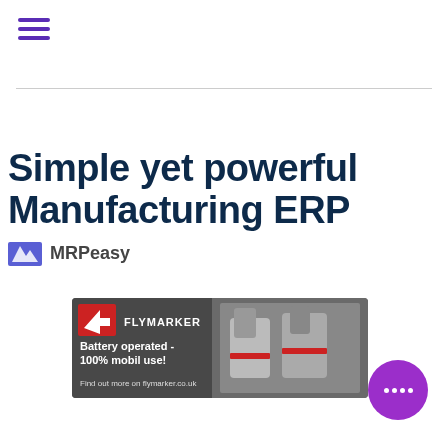[Figure (logo): Hamburger menu icon with three horizontal purple lines]
[Figure (advertisement): MRPeasy advertisement banner: 'Simple yet powerful Manufacturing ERP' with MRPeasy logo]
[Figure (advertisement): Flymarker advertisement: 'Battery operated - 100% mobil use! Find out more on flymarker.co.uk' with image of marking devices]
[Figure (other): Purple circular chat bubble icon with four white dots]